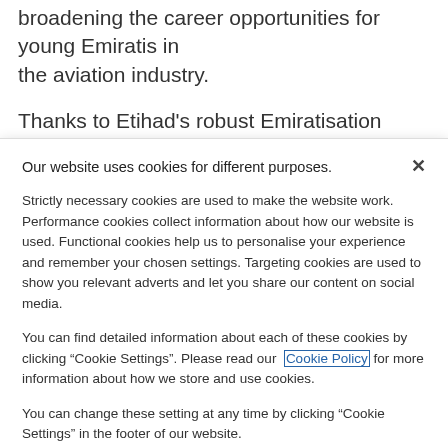broadening the career opportunities for young Emiratis in the aviation industry.
Thanks to Etihad's robust Emiratisation strategy which
Our website uses cookies for different purposes.
Strictly necessary cookies are used to make the website work. Performance cookies collect information about how our website is used. Functional cookies help us to personalise your experience and remember your chosen settings. Targeting cookies are used to show you relevant adverts and let you share our content on social media.
You can find detailed information about each of these cookies by clicking “Cookie Settings”. Please read our Cookie Policy for more information about how we store and use cookies.
You can change these setting at any time by clicking “Cookie Settings” in the footer of our website.